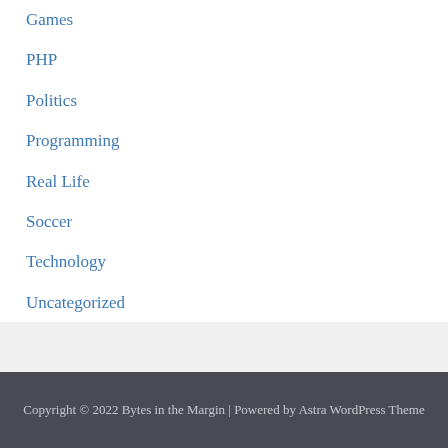Games
PHP
Politics
Programming
Real Life
Soccer
Technology
Uncategorized
Web Design
Copyright © 2022 Bytes in the Margin | Powered by Astra WordPress Theme